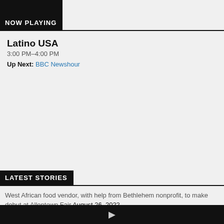NOW PLAYING
Latino USA
3:00 PM–4:00 PM
Up Next: BBC Newshour
LATEST STORIES
West African food vendor, with help from Bethlehem nonprofit, to make debut at Allentown Fair August 26, 2022
'What You Need to Know': Monkeypox vaccines, recycling bills rising and Bryce Bombs August 26, 2022